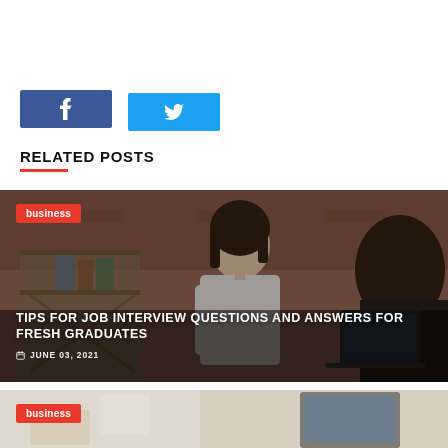[Figure (other): Facebook share button (blue square with white f icon)]
[Figure (other): Twitter share button (light blue square with white bird icon)]
RELATED POSTS
[Figure (photo): Photo of a woman in white shirt smiling in an office/brick wall setting during a job interview, with a business category tag overlay, article title 'TIPS FOR JOB INTERVIEW QUESTIONS AND ANSWERS FOR FRESH GRADUATES' and date 'JUNE 03, 2021']
[Figure (photo): Partial photo of a business setting with a business category tag overlay at the bottom of the page]